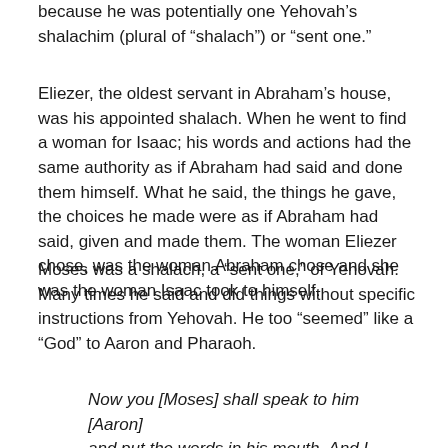because he was potentially one Yehovah’s shalachim (plural of “shalach”) or “sent one.”
Eliezer, the oldest servant in Abraham’s house, was his appointed shalach. When he went to find a woman for Isaac; his words and actions had the same authority as if Abraham had said and done them himself. What he said, the things he gave, the choices he made were as if Abraham had said, given and made them. The woman Eliezer chose, was the woman Abraham chose and she was the woman Isaac took to himself.
Moses was a shalach, a “sent one,” of Yehovah. Many times he said and did things without specific instructions from Yehovah. He too “seemed” like a “God” to Aaron and Pharaoh.
Now you [Moses] shall speak to him [Aaron] and put the words in his mouth. And I